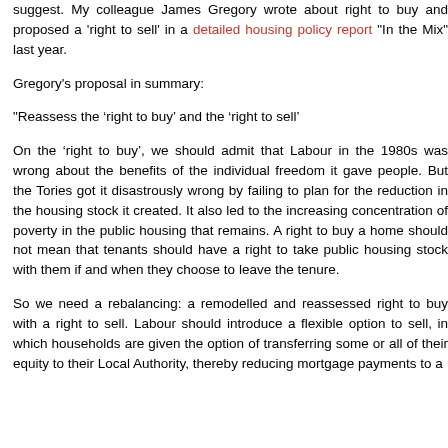suggest. My colleague James Gregory wrote about right to buy and proposed a 'right to sell' in a detailed housing policy report "In the Mix" last year.
Gregory's proposal in summary:
"Reassess the ‘right to buy’ and the ‘right to sell’
On the ‘right to buy’, we should admit that Labour in the 1980s was wrong about the benefits of the individual freedom it gave people. But the Tories got it disastrously wrong by failing to plan for the reduction in the housing stock it created. It also led to the increasing concentration of poverty in the public housing that remains. A right to buy a home should not mean that tenants should have a right to take public housing stock with them if and when they choose to leave the tenure.
So we need a rebalancing: a remodelled and reassessed right to buy with a right to sell. Labour should introduce a flexible option to sell, in which households are given the option of transferring some or all of their equity to their Local Authority, thereby reducing mortgage payments to a